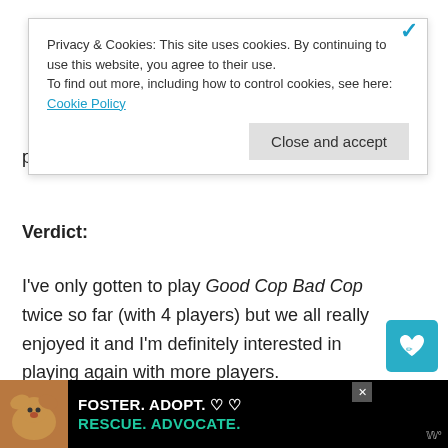Privacy & Cookies: This site uses cookies. By continuing to use this website, you agree to their use.
To find out more, including how to control cookies, see here: Cookie Policy
Close and accept
player and the crooked cops win.
Verdict:
I've only gotten to play Good Cop Bad Cop twice so far (with 4 players) but we all really enjoyed it and I'm definitely interested in playing again with more players.
[Figure (other): Foster. Adopt. Rescue. Advocate. advertisement banner with dog image]
[Figure (other): Floating action button with heart icon (like/save)]
[Figure (other): Floating share button]